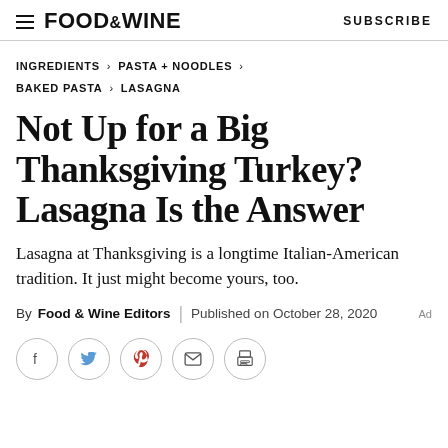FOOD & WINE   SUBSCRIBE
INGREDIENTS > PASTA + NOODLES > BAKED PASTA > LASAGNA
Not Up for a Big Thanksgiving Turkey? Lasagna Is the Answer
Lasagna at Thanksgiving is a longtime Italian-American tradition. It just might become yours, too.
By Food & Wine Editors | Published on October 28, 2020
[Figure (other): Social share buttons: Facebook, Twitter, Pinterest, Email, Print]